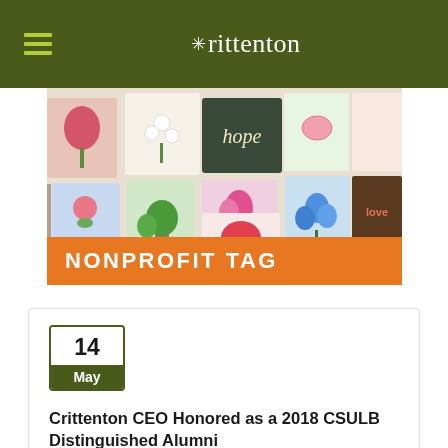Crittenton
[Figure (photo): Wall covered with colorful children's artwork including paintings of flowers, plants, and a chalkboard sign that says 'hope']
NONPROFIT TAG
14 May
Crittenton CEO Honored as a 2018 CSULB Distinguished Alumni
In Crittenton News Release